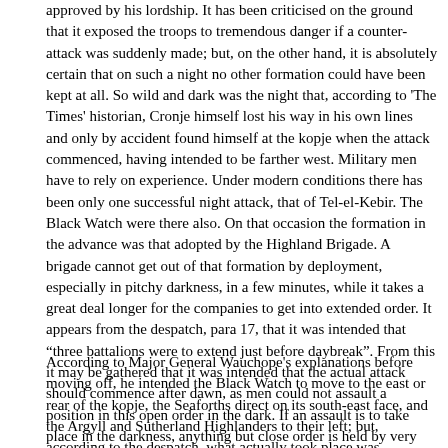approved by his lordship. It has been criticised on the ground that it exposed the troops to tremendous danger if a counter-attack was suddenly made; but, on the other hand, it is absolutely certain that on such a night no other formation could have been kept at all. So wild and dark was the night that, according to 'The Times' historian, Cronje himself lost his way in his own lines and only by accident found himself at the kopje when the attack commenced, having intended to be farther west. Military men have to rely on experience. Under modern conditions there has been only one successful night attack, that of Tel-el-Kebir. The Black Watch were there also. On that occasion the formation in the advance was that adopted by the Highland Brigade. A brigade cannot get out of that formation by deployment, especially in pitchy darkness, in a few minutes, while it takes a great deal longer for the companies to get into extended order. It appears from the despatch, para 17, that it was intended that "three battalions were to extend just before daybreak". From this it may be gathered that it was intended that the actual attack should commence after dawn, as men could not assault a position in this open order in the dark. If an assault is to take place in the darkness, anything but close order is held by very competent authorities to be impracticable.
According to Major General Wauchope's explanations before moving off, he intended the Black Watch to move to the east or rear of the kopje, the Seaforths direct on its south-east face, and the Argyll and Sutherland Highlanders to their left; but, according to the despatch, what actually took place was somewhat different, and as the matter is